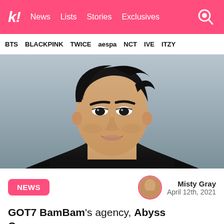k! News  Lists  Stories  Exclusives
BTS  BLACKPINK  TWICE  aespa  NCT  IVE  ITZY
[Figure (photo): Close-up portrait of BamBam from GOT7, dark hair swept up, wearing black, against a grey background]
NEWS
Misty Gray
April 12th, 2021
GOT7 BamBam's agency, Abyss Company